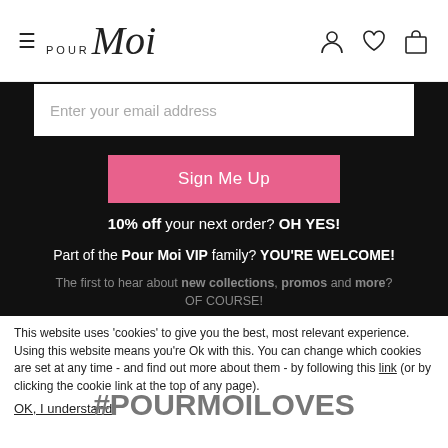Pour Moi navigation bar with hamburger menu, logo, user/wishlist/bag icons
Enter your email address
Sign Me Up
10% off your next order? OH YES!
Part of the Pour Moi VIP family? YOU'RE WELCOME!
The first to hear about new collections, promos and more? OF COURSE!
This website uses 'cookies' to give you the best, most relevant experience. Using this website means you're Ok with this. You can change which cookies are set at any time - and find out more about them - by following this link (or by clicking the cookie link at the top of any page).
#POURMOILOVES
OK, I understand